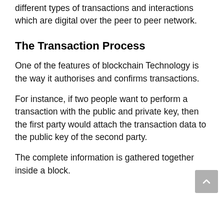different types of transactions and interactions which are digital over the peer to peer network.
The Transaction Process
One of the features of blockchain Technology is the way it authorises and confirms transactions.
For instance, if two people want to perform a transaction with the public and private key, then the first party would attach the transaction data to the public key of the second party.
The complete information is gathered together inside a block.